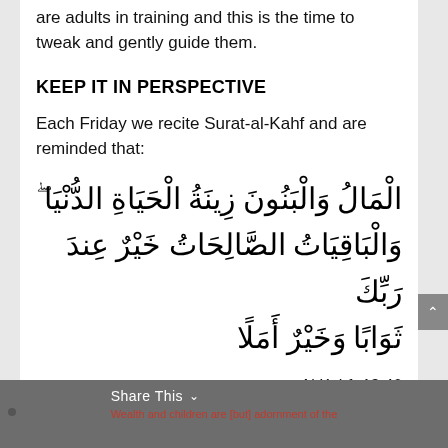are adults in training and this is the time to tweak and gently guide them.
KEEP IT IN PERSPECTIVE
Each Friday we recite Surat-al-Kahf and are reminded that:
الْمَالُ وَالْبَنُونَ زِينَةُ الْحَيَاةِ الدُّنْيَا ۖ وَالْبَاقِيَاتُ الصَّالِحَاتُ خَيْرٌ عِندَ رَبِّكَ ثَوَابًا وَخَيْرٌ أَمَلًا
Al Kahf- 18:46
Share This  Wealth and children are [but] adornment of the